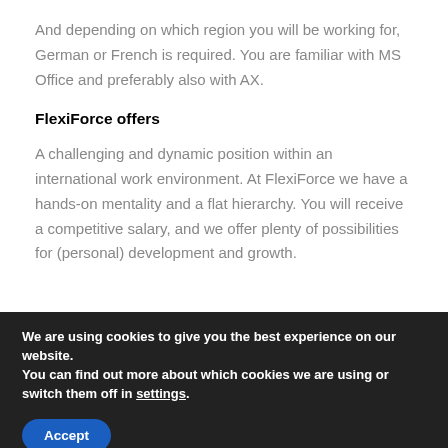And depending on which region you will be working for, German or French is required. You are familiar with MS Office and preferably also with AX.
FlexiForce offers
A challenging and dynamic position within an international work environment. At FlexiForce we have a hands-on mentality and a flat hierarchy. You will receive a competitive salary, and we offer plenty of possibilities for (personal) development and growth.
We are using cookies to give you the best experience on our website.
You can find out more about which cookies we are using or switch them off in settings.